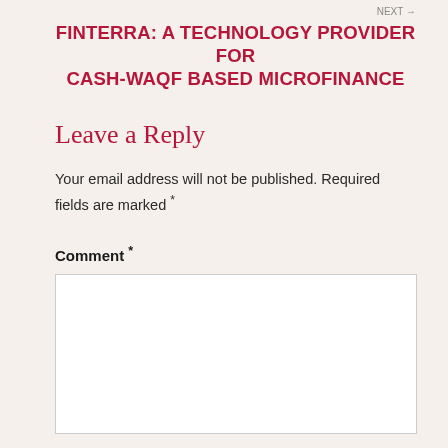NEXT →
FINTERRA: A TECHNOLOGY PROVIDER FOR CASH-WAQF BASED MICROFINANCE
Leave a Reply
Your email address will not be published. Required fields are marked *
Comment *